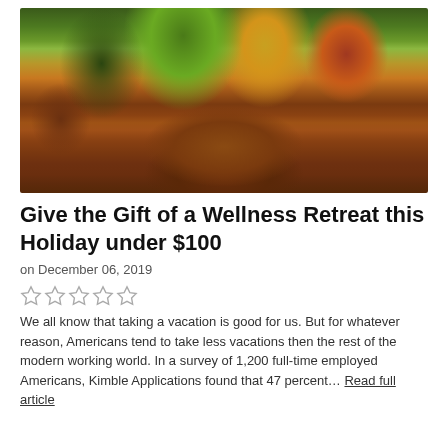[Figure (photo): Autumn scene with wooden cabin structures surrounded by trees with orange, yellow, green and red fall foliage, with a wooden fence in the foreground and fallen leaves on the ground.]
Give the Gift of a Wellness Retreat this Holiday under $100
on December 06, 2019
☆☆☆☆☆
We all know that taking a vacation is good for us. But for whatever reason, Americans tend to take less vacations then the rest of the modern working world.  In a survey of 1,200 full-time employed Americans, Kimble Applications found that 47 percent… Read full article